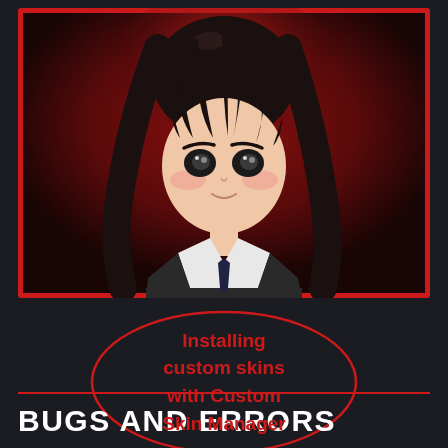[Figure (illustration): Anime-style character with long black hair, wearing a dark school uniform with white collar and dark tie, against a dark red glowing background. The image has a red border/frame.]
Installing custom skins with Custom Skin Manager
BUGS AND ERRORS